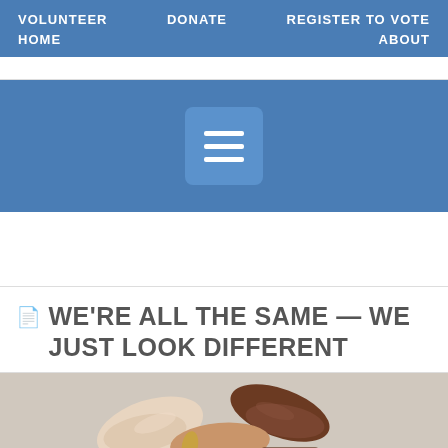VOLUNTEER   DONATE   REGISTER TO VOTE
HOME   ABOUT
[Figure (screenshot): Blue navigation bar with hamburger menu icon (three horizontal white lines on a blue rounded-square button)]
WE'RE ALL THE SAME — WE JUST LOOK DIFFERENT
[Figure (photo): Multiple hands of different skin tones clasped together, showing diversity and unity]